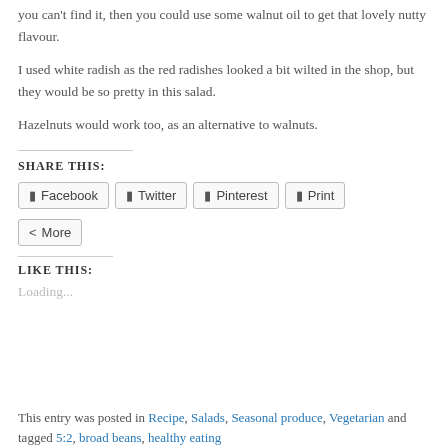you can't find it, then you could use some walnut oil to get that lovely nutty flavour.
I used white radish as the red radishes looked a bit wilted in the shop, but they would be so pretty in this salad.
Hazelnuts would work too, as an alternative to walnuts.
SHARE THIS:
Facebook  Twitter  Pinterest  Print  More
LIKE THIS:
Loading...
This entry was posted in Recipe, Salads, Seasonal produce, Vegetarian and tagged 5:2, broad beans, healthy eating